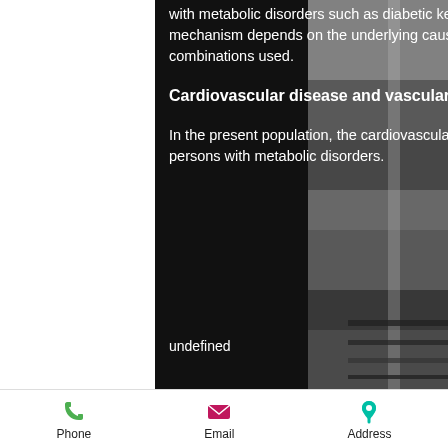with metabolic disorders such as diabetic ketoacidosis or metabolic syndrome (15, 16), deca joins b1. The mechanism depends on the underlying causes of thrombosis and not on the type of diet, medications, or medication combinations used.
Cardiovascular disease and vascular damage
In the present population, the cardiovascular disease risk in persons with diabetes mellitus is at least double that in persons with metabolic disorders.
undefined
Phone  Email  Address